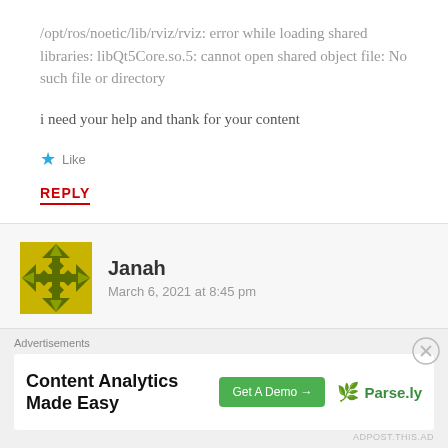/opt/ros/noetic/lib/rviz/rviz: error while loading shared libraries: libQt5Core.so.5: cannot open shared object file: No such file or directory
i need your help and thank for your content
★ Like
REPLY
Janah
March 6, 2021 at 8:45 pm
Hi
Advertisements
Content Analytics Made Easy
Get A Demo →
Parse.ly